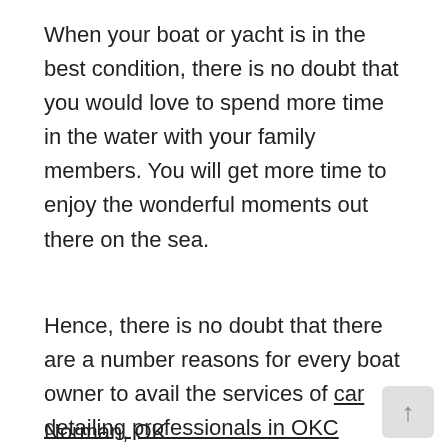When your boat or yacht is in the best condition, there is no doubt that you would love to spend more time in the water with your family members. You will get more time to enjoy the wonderful moments out there on the sea.
Hence, there is no doubt that there are a number reasons for every boat owner to avail the services of car detailing professionals in OKC
Contact US:
Chase Detailing
Address: 3730 W Rock Creek RD
Norman, OK